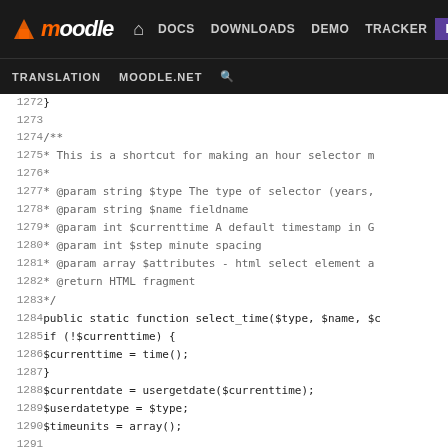[Figure (screenshot): Moodle developer documentation site header with navigation bar showing DOCS, DOWNLOADS, DEMO, TRACKER, DEV links and TRANSLATION, MOODLE.NET, search links below]
PHP source code lines 1272-1298 showing a select_time function with JSDoc comment block and switch statement for date type handling